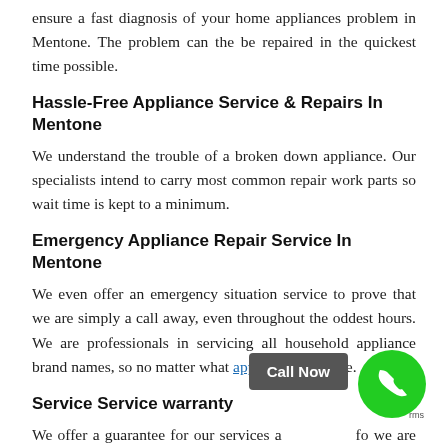ensure a fast diagnosis of your home appliances problem in Mentone. The problem can the be repaired in the quickest time possible.
Hassle-Free Appliance Service & Repairs In Mentone
We understand the trouble of a broken down appliance. Our specialists intend to carry most common repair work parts so wait time is kept to a minimum.
Emergency Appliance Repair Service In Mentone
We even offer an emergency situation service to prove that we are simply a call away, even throughout the oddest hours. We are professionals in servicing all household appliance brand names, so no matter what appliance you have.
Service Service warranty
We offer a guarantee for our services and fo we are confident of what we carry out in your home, so